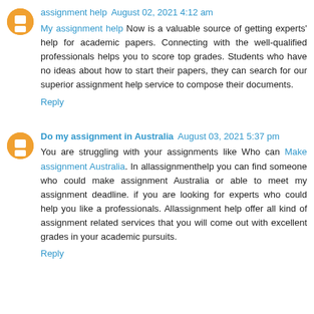assignment help August 02, 2021 4:12 am
My assignment help Now is a valuable source of getting experts' help for academic papers. Connecting with the well-qualified professionals helps you to score top grades. Students who have no ideas about how to start their papers, they can search for our superior assignment help service to compose their documents.
Reply
Do my assignment in Australia August 03, 2021 5:37 pm
You are struggling with your assignments like Who can Make assignment Australia. In allassignmenthelp you can find someone who could make assignment Australia or able to meet my assignment deadline. if you are looking for experts who could help you like a professionals. Allassignment help offer all kind of assignment related services that you will come out with excellent grades in your academic pursuits.
Reply